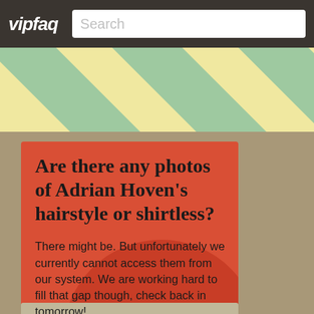vipfaq  Search
[Figure (illustration): Diagonal green and cream/yellow stripes on a light yellow background, used as a decorative banner]
Are there any photos of Adrian Hoven's hairstyle or shirtless?
There might be. But unfortunately we currently cannot access them from our system. We are working hard to fill that gap though, check back in tomorrow!